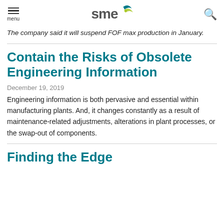menu | SME logo | search
The company said it will suspend FOF max production in January.
Contain the Risks of Obsolete Engineering Information
December 19, 2019
Engineering information is both pervasive and essential within manufacturing plants. And, it changes constantly as a result of maintenance-related adjustments, alterations in plant processes, or the swap-out of components.
Finding the Edge